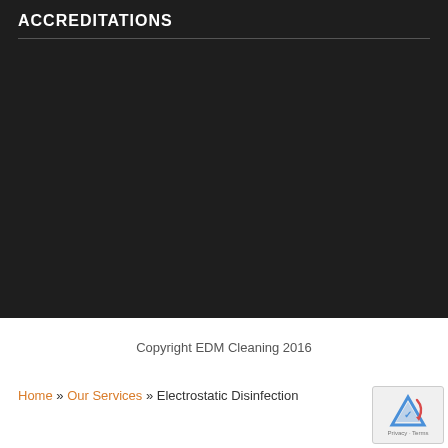ACCREDITATIONS
[Figure (photo): Dark background section, mostly empty, representing a content area for accreditations logos/images]
Copyright EDM Cleaning 2016
Home » Our Services » Electrostatic Disinfection